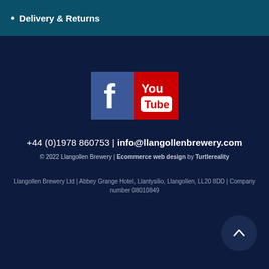Delivery & Returns
[Figure (logo): Facebook and YouTube social media icons side by side]
+44 (0)1978 860753 | info@llangollenbrewery.com
© 2022 Llangollen Brewery | Ecommerce web design by Turtlereality
Llangollen Brewery Ltd | Abbey Grange Hotel, Llantysilio, Llangollen, LL20 8DD  | Company number 08010849